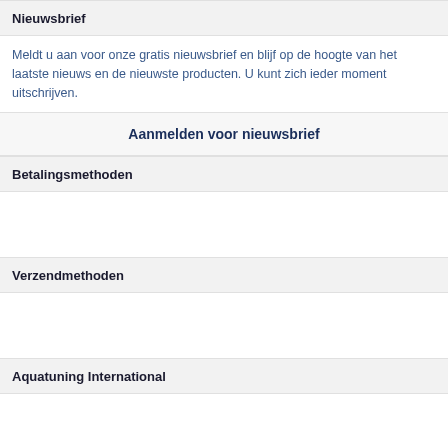Nieuwsbrief
Meldt u aan voor onze gratis nieuwsbrief en blijf op de hoogte van het laatste nieuws en de nieuwste producten. U kunt zich ieder moment uitschrijven.
Aanmelden voor nieuwsbrief
Betalingsmethoden
Verzendmethoden
Aquatuning International